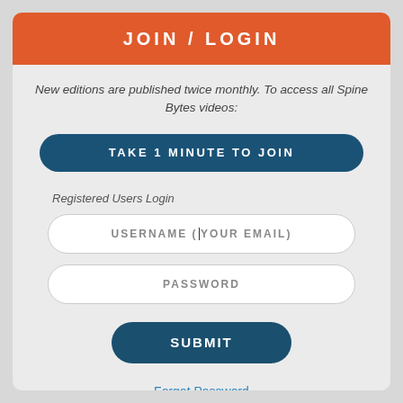JOIN / LOGIN
New editions are published twice monthly. To access all Spine Bytes videos:
TAKE 1 MINUTE TO JOIN
Registered Users Login
USERNAME (YOUR EMAIL)
PASSWORD
SUBMIT
Forgot Password